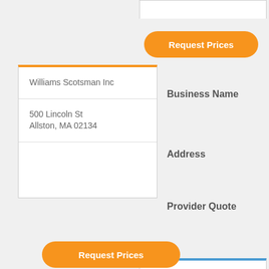Request Prices
Williams Scotsman Inc
500 Lincoln St
Allston, MA 02134
Business Name
Address
Provider Quote
Request Prices
Business Name
Address
Manzelli Martin W Corp
375 Concord Ave
Belmont, MA 02478